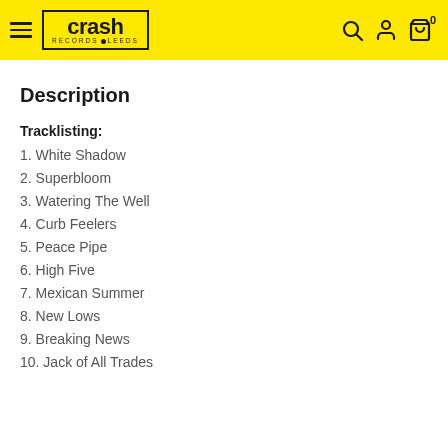Crash Records Leeds — navigation header
Description
Tracklisting:
1. White Shadow
2. Superbloom
3. Watering The Well
4. Curb Feelers
5. Peace Pipe
6. High Five
7. Mexican Summer
8. New Lows
9. Breaking News
10. Jack of All Trades